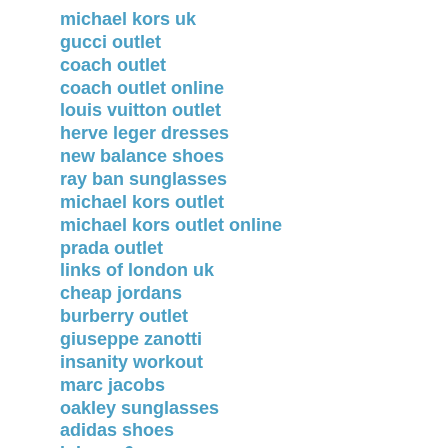michael kors uk
gucci outlet
coach outlet
coach outlet online
louis vuitton outlet
herve leger dresses
new balance shoes
ray ban sunglasses
michael kors outlet
michael kors outlet online
prada outlet
links of london uk
cheap jordans
burberry outlet
giuseppe zanotti
insanity workout
marc jacobs
oakley sunglasses
adidas shoes
iphone 6 cases
kobe 9
longchamp outlet